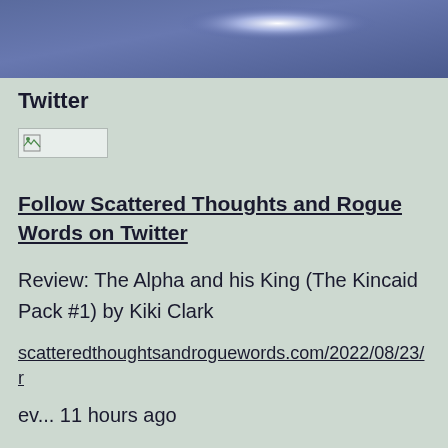[Figure (photo): Blue-toned banner image with a bright white glowing spot in the upper center-right area, resembling a lit window or light source against a dark blue-purple background.]
Twitter
[Figure (photo): A broken/missing image placeholder box showing a small broken image icon.]
Follow Scattered Thoughts and Rogue Words on Twitter
Review: The Alpha and his King (The Kincaid Pack #1) by Kiki Clark
scatteredthoughtsandroguewords.com/2022/08/23/r
ev... 11 hours ago